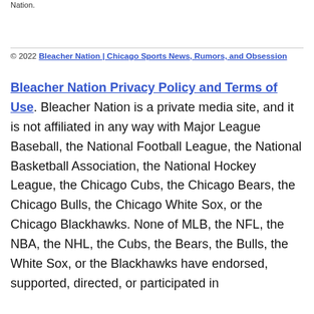Nation.
© 2022 Bleacher Nation | Chicago Sports News, Rumors, and Obsession
Bleacher Nation Privacy Policy and Terms of Use. Bleacher Nation is a private media site, and it is not affiliated in any way with Major League Baseball, the National Football League, the National Basketball Association, the National Hockey League, the Chicago Cubs, the Chicago Bears, the Chicago Bulls, the Chicago White Sox, or the Chicago Blackhawks. None of MLB, the NFL, the NBA, the NHL, the Cubs, the Bears, the Bulls, the White Sox, or the Blackhawks have endorsed, supported, directed, or participated in